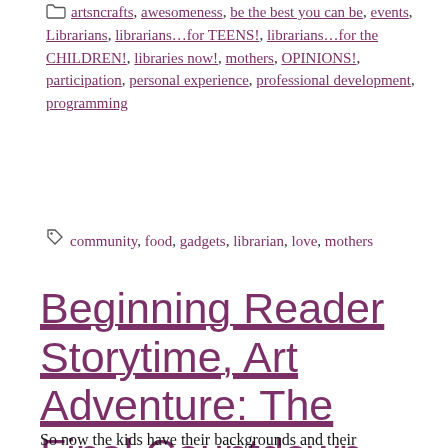artsncrafts, awesomeness, be the best you can be, events, Librarians, librarians…for TEENS!, librarians…for the CHILDREN!, libraries now!, mothers, OPINIONS!, participation, personal experience, professional development, programming
community, food, gadgets, librarian, love, mothers
Beginning Reader Storytime, Art Adventure: The Final Countdown
So now the kids have their backgrounds and their